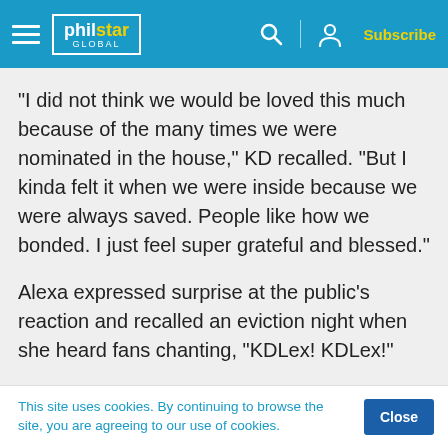philstar GLOBAL — Subscribe
“I did not think we would be loved this much because of the many times we were nominated in the house,” KD recalled. “But I kinda felt it when we were inside because we were always saved. People like how we bonded. I just feel super grateful and blessed.”
Alexa expressed surprise at the public’s reaction and recalled an eviction night when she heard fans chanting, “KDLex! KDLex!”
This site uses cookies. By continuing to browse the site, you are agreeing to our use of cookies.